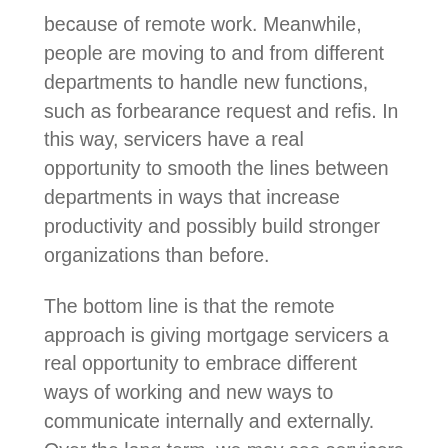because of remote work. Meanwhile, people are moving to and from different departments to handle new functions, such as forbearance request and refis. In this way, servicers have a real opportunity to smooth the lines between departments in ways that increase productivity and possibly build stronger organizations than before.
The bottom line is that the remote approach is giving mortgage servicers a real opportunity to embrace different ways of working and new ways to communicate internally and externally. Over the long term, we may see servicers rethink their need for office space and lessen their leasing footprints or pursue some form of space sharing. However a servicer, or any of us for that matter, chooses to structure their remote workforce in the months and